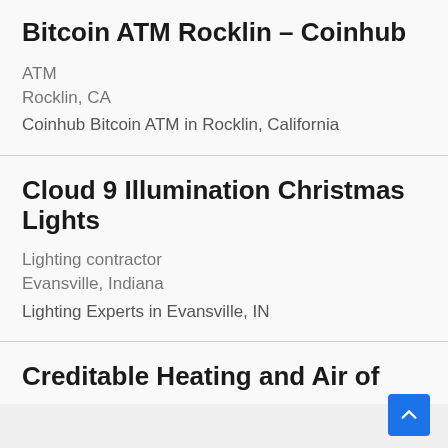Bitcoin ATM Rocklin – Coinhub
ATM
Rocklin, CA
Coinhub Bitcoin ATM in Rocklin, California
Cloud 9 Illumination Christmas Lights
Lighting contractor
Evansville, Indiana
Lighting Experts in Evansville, IN
Creditable Heating and Air of